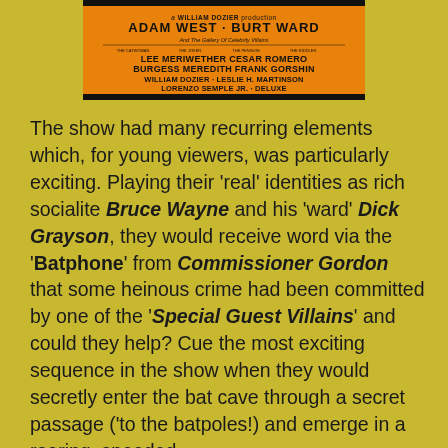[Figure (other): Batman movie poster showing credits: A William Dozier Production, Adam West - Burt Ward, And The Gallery Of Celebrity Villains, Lee Meriwether, Cesar Romero, Burgess Meredith, Frank Gorshin, William Dozier, Leslie H. Martinson, Lorenzo Semple Jr., Deluxe]
The show had many recurring elements which, for young viewers, was particularly exciting. Playing their 'real' identities as rich socialite Bruce Wayne and his 'ward' Dick Grayson, they would receive word via the 'Batphone' from Commissioner Gordon that some heinous crime had been committed by one of the 'Special Guest Villains' and could they help? Cue the most exciting sequence in the show when they would secretly enter the bat cave through a secret passage ('to the batpoles!) and emerge in a roaring, speeded-